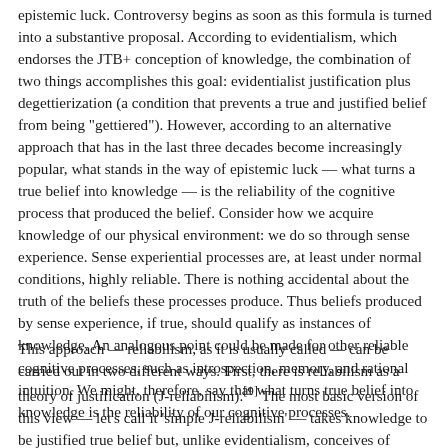epistemic luck. Controversy begins as soon as this formula is turned into a substantive proposal. According to evidentialism, which endorses the JTB+ conception of knowledge, the combination of two things accomplishes this goal: evidentialist justification plus degettierization (a condition that prevents a true and justified belief from being "gettiered"). However, according to an alternative approach that has in the last three decades become increasingly popular, what stands in the way of epistemic luck — what turns a true belief into knowledge — is the reliability of the cognitive process that produced the belief. Consider how we acquire knowledge of our physical environment: we do so through sense experience. Sense experiential processes are, at least under normal conditions, highly reliable. There is nothing accidental about the truth of the beliefs these processes produce. Thus beliefs produced by sense experience, if true, should qualify as instances of knowledge. An analogous point could be made for other reliable cognitive processes, such as introspection, memory, and rational intuition. We might, therefore, say that what turns true belief into knowledge is the reliability of our cognitive processes.
This approach — reliabilism, as it is usually called — can be carried out in two different ways. First, there is reliabilism as a theory of justification (J-reliabilism).[9] The most basic version of this view — let's call it 'simple J-reliabilism' — takes knowledge to be justified true belief but, unlike evidentialism, conceives of